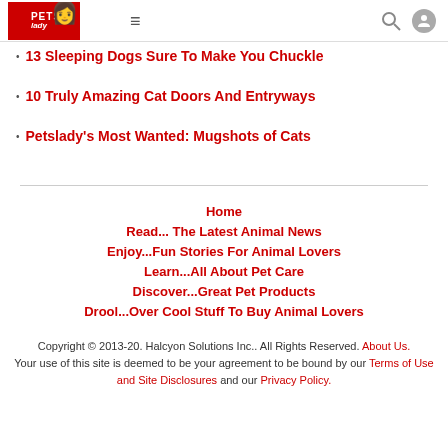Petslady navigation header with logo, hamburger menu, search and user icons
13 Sleeping Dogs Sure To Make You Chuckle
10 Truly Amazing Cat Doors And Entryways
Petslady's Most Wanted: Mugshots of Cats
Home
Read... The Latest Animal News
Enjoy...Fun Stories For Animal Lovers
Learn...All About Pet Care
Discover...Great Pet Products
Drool...Over Cool Stuff To Buy Animal Lovers
Copyright © 2013-20. Halcyon Solutions Inc.. All Rights Reserved. About Us. Your use of this site is deemed to be your agreement to be bound by our Terms of Use and Site Disclosures and our Privacy Policy.